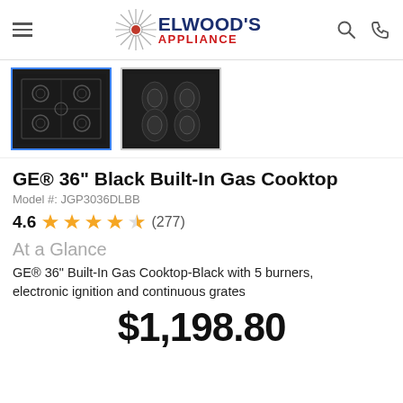Elwood's Appliance
[Figure (photo): Two product thumbnail images of GE 36 inch black gas cooktop. First shows top-down view of cooktop grates, second shows close-up of burner knobs.]
GE® 36" Black Built-In Gas Cooktop
Model #: JGP3036DLBB
4.6 ★★★★☆ (277)
At a Glance
GE® 36" Built-In Gas Cooktop-Black with 5 burners, electronic ignition and continuous grates
$1,198.80